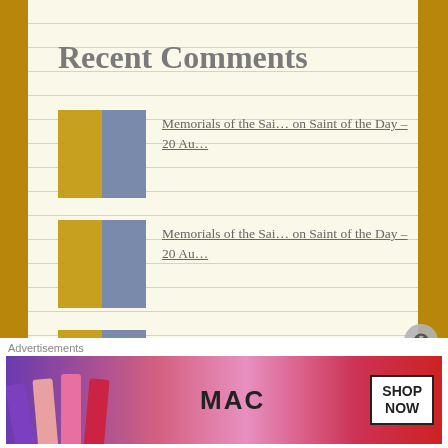Recent Comments
Memorials of the Sai… on Saint of the Day – 20 Au…
Memorials of the Sai… on Saint of the Day – 20 Au…
Memorials of the Sai… on Saint of the Day – 20 Au…
Memorials of the Sai… on Saint of the Day – 20 Au…
Thought for the Day… on Thought for the Day…
Advertisements
[Figure (photo): MAC Cosmetics advertisement showing lipsticks with MAC logo and SHOP NOW button]